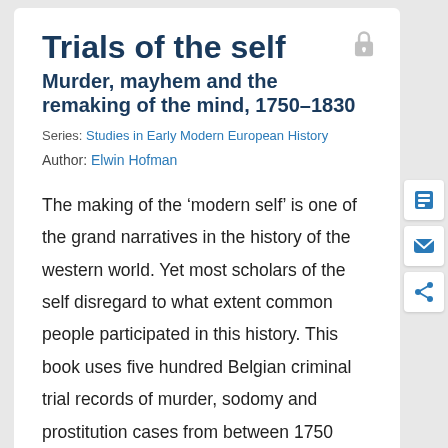Trials of the self
Murder, mayhem and the remaking of the mind, 1750–1830
Series: Studies in Early Modern European History
Author: Elwin Hofman
The making of the ‘modern self’ is one of the grand narratives in the history of the western world. Yet most scholars of the self disregard to what extent common people participated in this history. This book uses five hundred Belgian criminal trial records of murder, sodomy and prostitution cases from between 1750 and 1830 to retell the